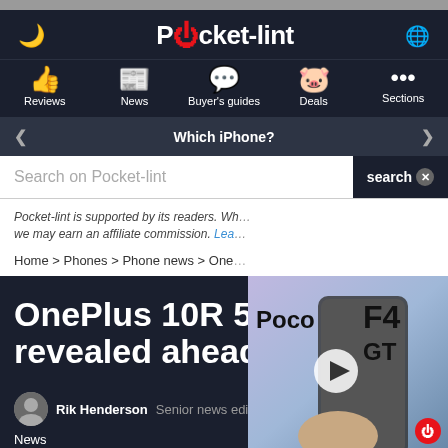Pocket-lint navigation bar with Reviews, News, Buyer's guides, Deals, Sections
Which iPhone?
Search on Pocket-lint
Pocket-lint is supported by its readers. When you purchase through links on our site, we may earn an affiliate commission. Learn more
Home > Phones > Phone news > One...
OnePlus 10R 5G officially revealed ahead of launch
[Figure (screenshot): Video thumbnail showing Poco F4 GT smartphone being held in hand, with play button overlay]
Rik Henderson · Senior news editor · 19 April 2022 · News